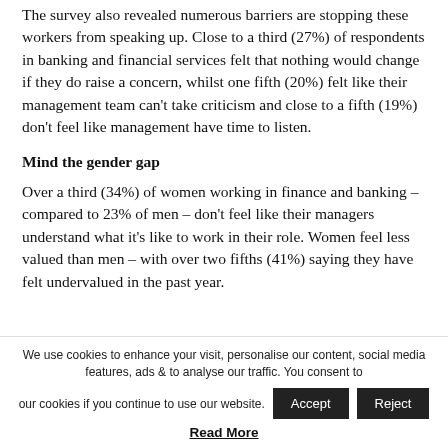The survey also revealed numerous barriers are stopping these workers from speaking up. Close to a third (27%) of respondents in banking and financial services felt that nothing would change if they do raise a concern, whilst one fifth (20%) felt like their management team can't take criticism and close to a fifth (19%) don't feel like management have time to listen.
Mind the gender gap
Over a third (34%) of women working in finance and banking – compared to 23% of men – don't feel like their managers understand what it's like to work in their role. Women feel less valued than men – with over two fifths (41%) saying they have felt undervalued in the past year.
We use cookies to enhance your visit, personalise our content, social media features, ads & to analyse our traffic. You consent to our cookies if you continue to use our website.